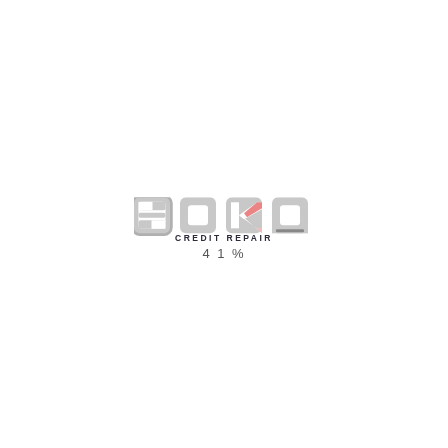[Figure (logo): SOKO Credit Repair logo: stylized block letters S, O, K, O in grey with red accent on K, and 'CREDIT REPAIR' in small caps below]
41%